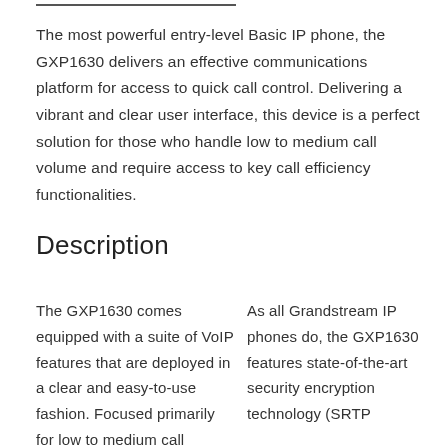The most powerful entry-level Basic IP phone, the GXP1630 delivers an effective communications platform for access to quick call control. Delivering a vibrant and clear user interface, this device is a perfect solution for those who handle low to medium call volume and require access to key call efficiency functionalities.
Description
The GXP1630 comes equipped with a suite of VoIP features that are deployed in a clear and easy-to-use fashion. Focused primarily for low to medium call volumes and efficient call handling, its 3 line/SIP account design
As all Grandstream IP phones do, the GXP1630 features state-of-the-art security encryption technology (SRTP